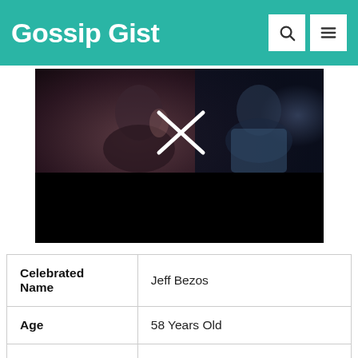Gossip Gist
[Figure (photo): Dark cinema scene with a woman's profile visible on the left and a man on the right, with a large white X overlay in the center, lower half blacked out]
| Celebrated Name | Jeff Bezos |
| Age | 58 Years Old |
| Nick Name | Jeff Bezos |